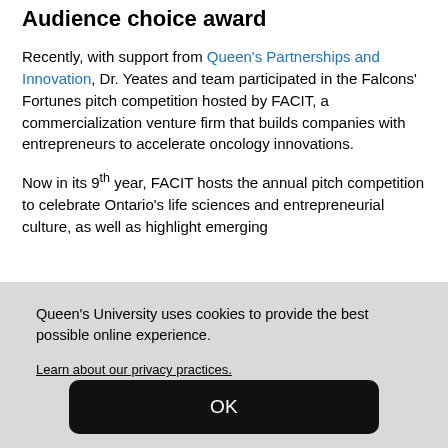Audience choice award
Recently, with support from Queen's Partnerships and Innovation, Dr. Yeates and team participated in the Falcons' Fortunes pitch competition hosted by FACIT, a commercialization venture firm that builds companies with entrepreneurs to accelerate oncology innovations.
Now in its 9th year, FACIT hosts the annual pitch competition to celebrate Ontario's life sciences and entrepreneurial culture, as well as highlight emerging
Queen's University uses cookies to provide the best possible online experience.
Learn about our privacy practices.
OK